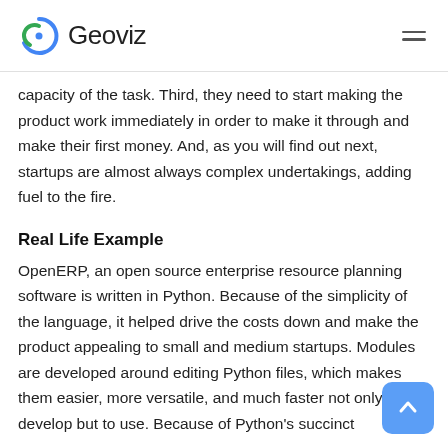Geoviz
capacity of the task. Third, they need to start making the product work immediately in order to make it through and make their first money. And, as you will find out next, startups are almost always complex undertakings, adding fuel to the fire.
Real Life Example
OpenERP, an open source enterprise resource planning software is written in Python. Because of the simplicity of the language, it helped drive the costs down and make the product appealing to small and medium startups. Modules are developed around editing Python files, which makes them easier, more versatile, and much faster not only to develop but to use. Because of Python's succinct